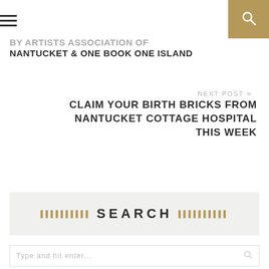BY ARTISTS ASSOCIATION OF NANTUCKET & ONE BOOK ONE ISLAND
NEXT POST »
CLAIM YOUR BIRTH BRICKS FROM NANTUCKET COTTAGE HOSPITAL THIS WEEK
SEARCH
Type and hit enter...